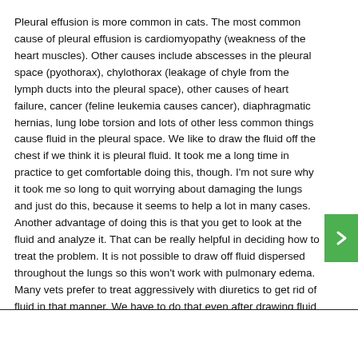Pleural effusion is more common in cats. The most common cause of pleural effusion is cardiomyopathy (weakness of the heart muscles). Other causes include abscesses in the pleural space (pyothorax), chylothorax (leakage of chyle from the lymph ducts into the pleural space), other causes of heart failure, cancer (feline leukemia causes cancer), diaphragmatic hernias, lung lobe torsion and lots of other less common things cause fluid in the pleural space. We like to draw the fluid off the chest if we think it is pleural fluid. It took me a long time in practice to get comfortable doing this, though. I'm not sure why it took me so long to quit worrying about damaging the lungs and just do this, because it seems to help a lot in many cases. Another advantage of doing this is that you get to look at the fluid and analyze it. That can be really helpful in deciding how to treat the problem. It is not possible to draw off fluid dispersed throughout the lungs so this won't work with pulmonary edema. Many vets prefer to treat aggressively with diuretics to get rid of fluid in that manner. We have to do that even after drawing fluid off in most cases.